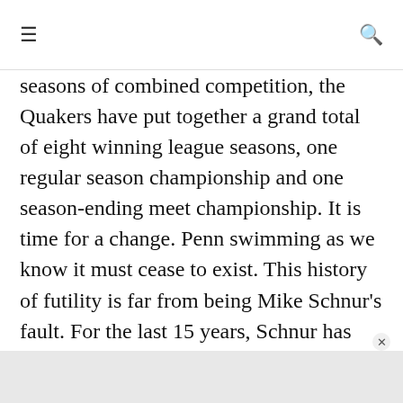≡  🔍
seasons of combined competition, the Quakers have put together a grand total of eight winning league seasons, one regular season championship and one season-ending meet championship. It is time for a change. Penn swimming as we know it must cease to exist. This history of futility is far from being Mike Schnur's fault. For the last 15 years, Schnur has done nothing but bleed Red and Blue. He has given his all for Penn as a swimmer in the pool and as an assistant and interim head coach on